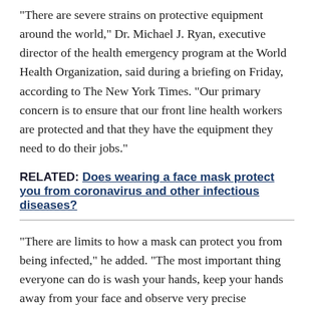“There are severe strains on protective equipment around the world,” Dr. Michael J. Ryan, executive director of the health emergency program at the World Health Organization, said during a briefing on Friday, according to The New York Times. “Our primary concern is to ensure that our front line health workers are protected and that they have the equipment they need to do their jobs.”
RELATED: Does wearing a face mask protect you from coronavirus and other infectious diseases?
“There are limits to how a mask can protect you from being infected,” he added. “The most important thing everyone can do is wash your hands, keep your hands away from your face and observe very precise